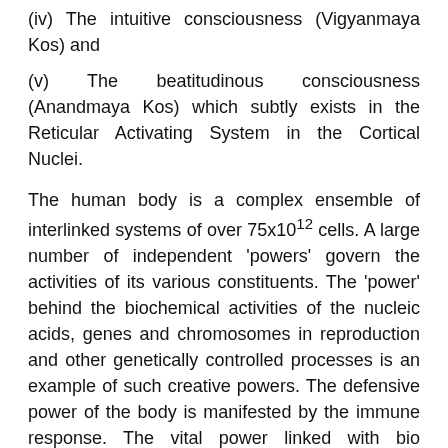(iv) The intuitive consciousness (Vigyanmaya Kos) and
(v) The beatitudinous consciousness (Anandmaya Kos) which subtly exists in the Reticular Activating System in the Cortical Nuclei.
The human body is a complex ensemble of interlinked systems of over 75x10^12 cells. A large number of independent 'powers' govern the activities of its various constituents. The 'power' behind the biochemical activities of the nucleic acids, genes and chromosomes in reproduction and other genetically controlled processes is an example of such creative powers. The defensive power of the body is manifested by the immune response. The vital power linked with bio electricity and bio magnetism is also amongst the most important subtle powers existing in our body. Due to their manifestation in the form of (bio) physico chemical activities, the presence and